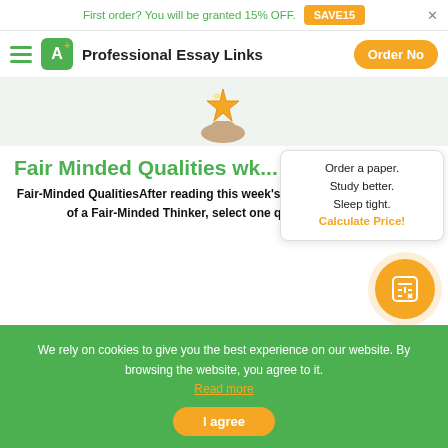First order? You will be granted 15% OFF. SAVE15
Professional Essay Links  Order No
[Figure (illustration): Trophy or award illustration with a hand holding a star]
Fair Minded Qualities wk
Order a paper. Study better. Sleep tight. Calculate Price!
Fair-Minded QualitiesAfter reading this week's lectures on the qualities of a Fair-Minded Thinker, select one quality you feel...
We rely on cookies to give you the best experience on our website. By browsing the website, you agree to it. Read more
I agree